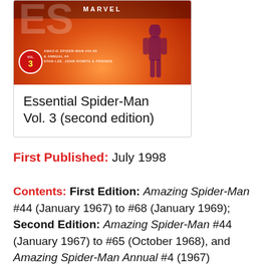[Figure (illustration): Book cover of Essential Spider-Man Vol. 3 second edition, showing an orange/red burst background with a Marvel logo and comic issue information text]
Essential Spider-Man Vol. 3 (second edition)
First Published: July 1998
Contents: First Edition: Amazing Spider-Man #44 (January 1967) to #68 (January 1969); Second Edition: Amazing Spider-Man #44 (January 1967) to #65 (October 1968), and Amazing Spider-Man Annual #4 (1967)